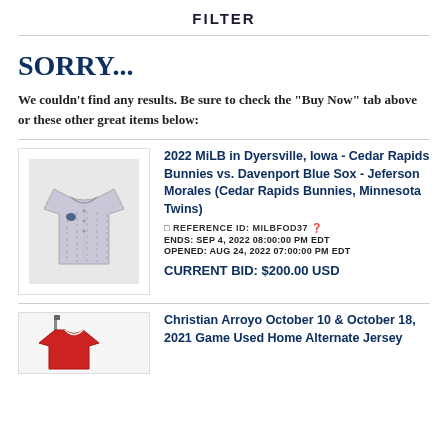FILTER
SORRY...
We couldn't find any results. Be sure to check the "Buy Now" tab above or these other great items below:
2022 MiLB in Dyersville, Iowa - Cedar Rapids Bunnies vs. Davenport Blue Sox - Jeferson Morales (Cedar Rapids Bunnies, Minnesota Twins)
□ REFERENCE ID: MILBFOD37 ❓
ENDS: SEP 4, 2022 08:00:00 PM EDT
OPENED: AUG 24, 2022 07:00:00 PM EDT
CURRENT BID: $200.00 USD
[Figure (photo): Photo of a pinstriped baseball jersey on a hanger]
Christian Arroyo October 10 & October 18, 2021 Game Used Home Alternate Jersey
[Figure (photo): Photo of a red home alternate baseball jersey on a hanger]